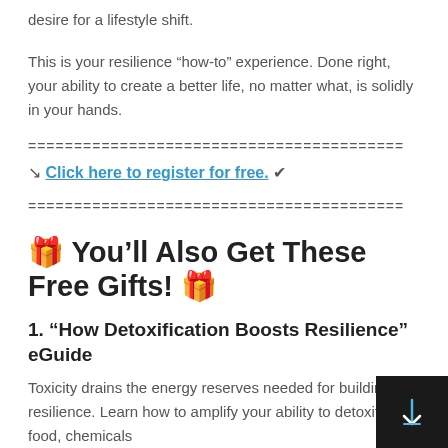desire for a lifestyle shift.
This is your resilience “how-to” experience. Done right, your ability to create a better life, no matter what, is solidly in your hands.
=========================================
↘ Click here to register for free. ✔
=========================================
🎁 You’ll Also Get These Free Gifts! 🎁
1. “How Detoxification Boosts Resilience” eGuide
Toxicity drains the energy reserves needed for building resilience. Learn how to amplify your ability to detoxify the food, chemicals